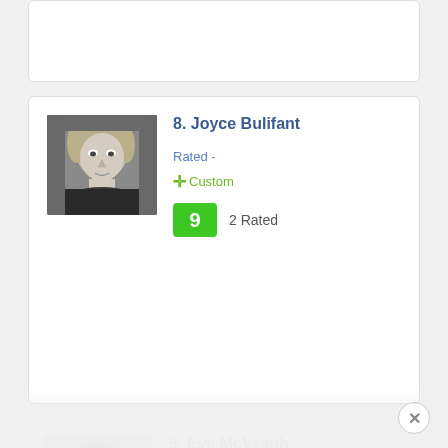[Figure (other): Partial white card at top, clipped]
8. Joyce Bulifant
Rated -
✛ Custom
9   2 Rated
[Figure (photo): Black and white portrait photo of Joyce Bulifant]
9. Eve McVeagh
Rated
✛ Custom
[Figure (photo): Black and white portrait photo of Eve McVeagh]